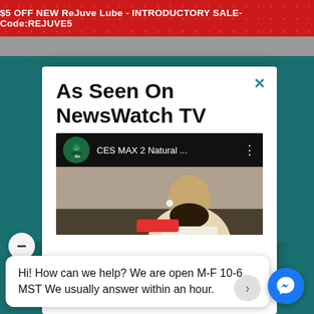$5 OFF NEW ReJuve Lube - INTRODUCTORY SALE- Code:REJUVE5
As Seen On NewsWatch TV
[Figure (screenshot): YouTube-style video thumbnail showing a channel icon with a tree logo, title 'CES MAX 2 Natural ...' and a video frame of a bearded man]
Hi! How can we help? We are open M-F 10-6 MST We usually answer within an hour.